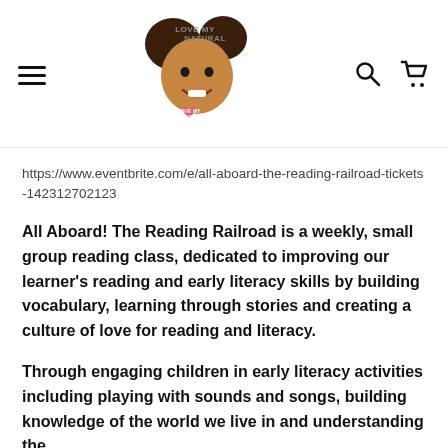Love My Natural — navigation header with logo, hamburger menu, search and cart icons
https://www.eventbrite.com/e/all-aboard-the-reading-railroad-tickets-142312702123
All Aboard! The Reading Railroad is a weekly, small group reading class, dedicated to improving our learner's reading and early literacy skills by building vocabulary, learning through stories and creating a culture of love for reading and literacy.
Through engaging children in early literacy activities including playing with sounds and songs, building knowledge of the world we live in and understanding the